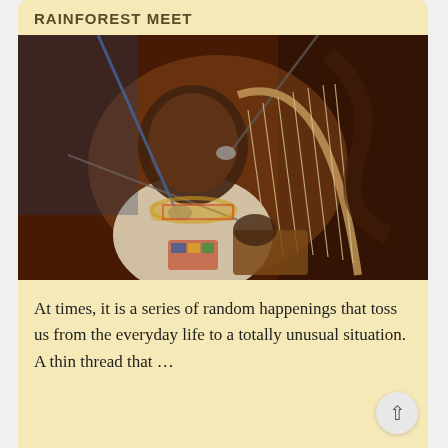RAINFOREST MEET
[Figure (photo): A performer playing a traditional African harp/lyre instrument on stage, wearing a white sleeveless shirt and colorful beaded necklaces. Microphones visible, dark stage background with blue lighting.]
At times, it is a series of random happenings that toss us from the everyday life to a totally unusual situation. A thin thread that …